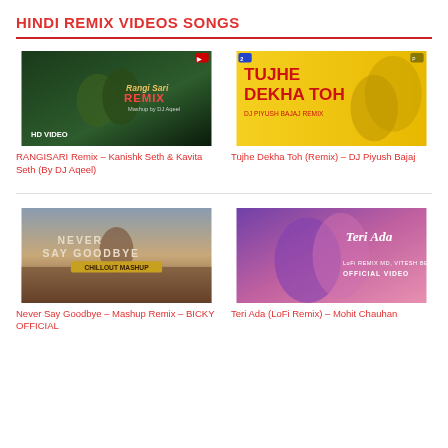HINDI REMIX VIDEOS SONGS
[Figure (photo): Thumbnail for RANGISARI Remix showing a couple in a dark green-toned romantic scene with text 'Rangi Sari Remix HD VIDEO Mashup by DJ Aqeel']
RANGISARI Remix – Kanishk Seth & Kavita Seth (By DJ Aqeel)
[Figure (photo): Thumbnail for Tujhe Dekha Toh Remix showing a couple on yellow background with bold text 'Tujhe Dekha Toh DJ Piyush Bajaj Remix']
Tujhe Dekha Toh (Remix) – DJ Piyush Bajaj
[Figure (photo): Thumbnail for Never Say Goodbye showing a woman in a field with text 'Never Say Goodbye Chillout Mashup']
Never Say Goodbye – Mashup Remix – BICKY OFFICIAL
[Figure (photo): Thumbnail for Teri Ada LoFi Remix showing a couple with text 'Teri Ada Official Video' on a purple/pink background]
Teri Ada (LoFi Remix) – Mohit Chauhan